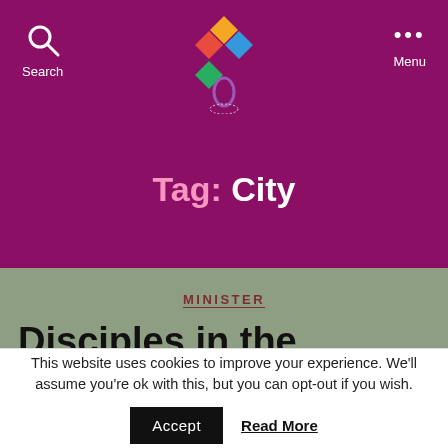Search | Logo | Menu
Tag: City
MINISTER
Disciples in the Modern
This website uses cookies to improve your experience. We'll assume you're ok with this, but you can opt-out if you wish.
Accept   Read More